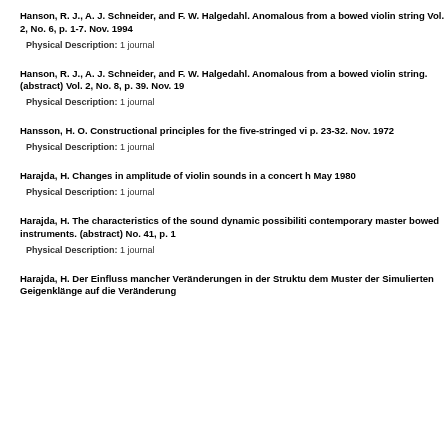Hanson, R. J., A. J. Schneider, and F. W. Halgedahl. Anomalous from a bowed violin string Vol. 2, No. 6, p. 1-7. Nov. 1994
Physical Description: 1 journal
Hanson, R. J., A. J. Schneider, and F. W. Halgedahl. Anomalous from a bowed violin string. (abstract) Vol. 2, No. 8, p. 39. Nov. 19
Physical Description: 1 journal
Hansson, H. O. Constructional principles for the five-stringed vi p. 23-32. Nov. 1972
Physical Description: 1 journal
Harajda, H. Changes in amplitude of violin sounds in a concert h May 1980
Physical Description: 1 journal
Harajda, H. The characteristics of the sound dynamic possibiliti contemporary master bowed instruments. (abstract) No. 41, p. 1
Physical Description: 1 journal
Harajda, H. Der Einfluss mancher Veränderungen in der Struktu dem Muster der Simulierten Geigenklänge auf die Veränderung